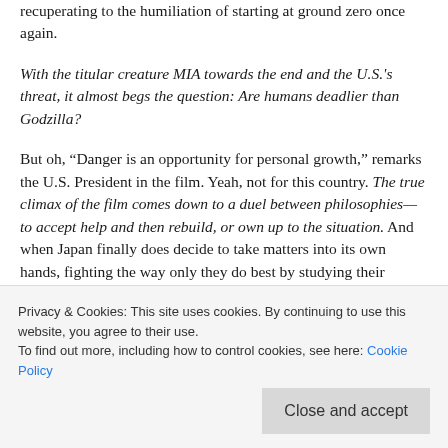recuperating to the humiliation of starting at ground zero once again.
With the titular creature MIA towards the end and the U.S.'s threat, it almost begs the question: Are humans deadlier than Godzilla?
But oh, “Danger is an opportunity for personal growth,” remarks the U.S. President in the film. Yeah, not for this country. The true climax of the film comes down to a duel between philosophies—to accept help and then rebuild, or own up to the situation. And when Japan finally does decide to take matters into its own hands, fighting the way only they do best by studying their enemy, the scientific team makes work of the King of Monsters in a way that, without spoilers, makes me proud to be human. Using science, mankind’s greatest
Privacy & Cookies: This site uses cookies. By continuing to use this website, you agree to their use.
To find out more, including how to control cookies, see here: Cookie Policy
Close and accept
takeaway. Take pride in the things you can create and